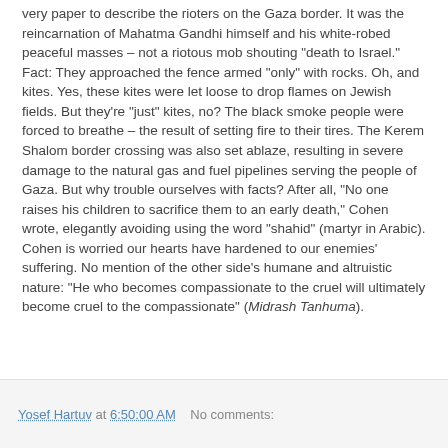very paper to describe the rioters on the Gaza border. It was the reincarnation of Mahatma Gandhi himself and his white-robed peaceful masses – not a riotous mob shouting "death to Israel." Fact: They approached the fence armed "only" with rocks. Oh, and kites. Yes, these kites were let loose to drop flames on Jewish fields. But they're "just" kites, no? The black smoke people were forced to breathe – the result of setting fire to their tires. The Kerem Shalom border crossing was also set ablaze, resulting in severe damage to the natural gas and fuel pipelines serving the people of Gaza. But why trouble ourselves with facts? After all, "No one raises his children to sacrifice them to an early death," Cohen wrote, elegantly avoiding using the word "shahid" (martyr in Arabic). Cohen is worried our hearts have hardened to our enemies' suffering. No mention of the other side's humane and altruistic nature: "He who becomes compassionate to the cruel will ultimately become cruel to the compassionate" (Midrash Tanhuma).
Yosef Hartuv at 6:50:00 AM   No comments: